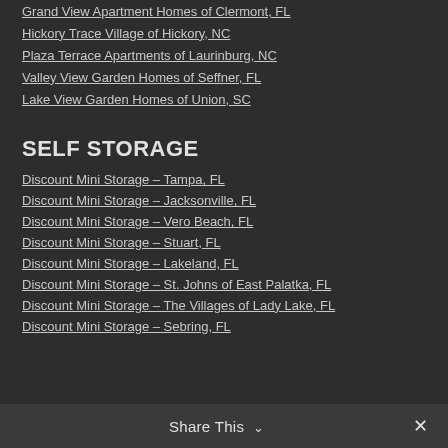Grand View Apartment Homes of Clermont, FL
Hickory Trace Village of Hickory, NC
Plaza Terrace Apartments of Laurinburg, NC
Valley View Garden Homes of Seffner, FL
Lake View Garden Homes of Union, SC
SELF STORAGE
Discount Mini Storage – Tampa, FL
Discount Mini Storage – Jacksonville, FL
Discount Mini Storage – Vero Beach, FL
Discount Mini Storage – Stuart, FL
Discount Mini Storage – Lakeland, FL
Discount Mini Storage – St. Johns of East Palatka, FL
Discount Mini Storage – The Villages of Lady Lake, FL
Discount Mini Storage – Sebring, FL
Share This ∨  ✕